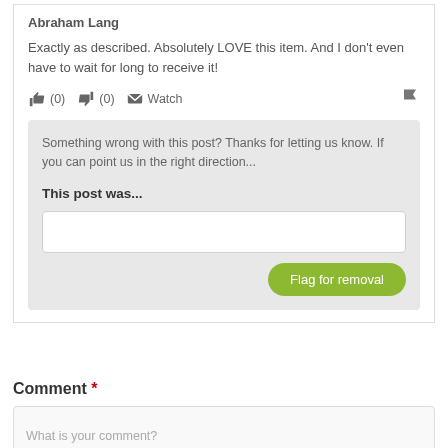Abraham Lang
Exactly as described. Absolutely LOVE this item. And I don't even have to wait for long to receive it!
(0)  (0)  Watch  [flag icon]
Something wrong with this post? Thanks for letting us know. If you can point us in the right direction...
This post was...
Flag for removal
Comment *
What is your comment?